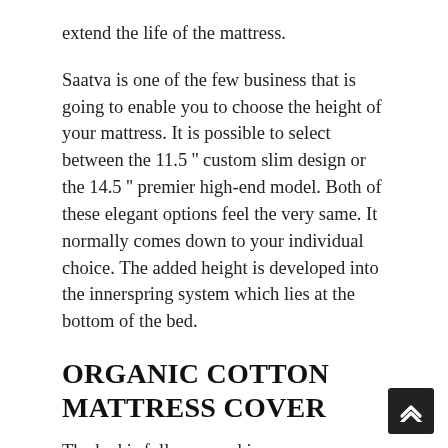extend the life of the mattress.
Saatva is one of the few business that is going to enable you to choose the height of your mattress. It is possible to select between the 11.5'' custom slim design or the 14.5'' premier high-end model. Both of these elegant options feel the very same. It normally comes down to your individual choice. The added height is developed into the innerspring system which lies at the bottom of the bed.
ORGANIC COTTON MATTRESS COVER
The bed is fully covered in a non-removable, natural cotton cover which is antimicrobial also. The covering is rather soft and offers a look that looks as good as it feels. If you happen to spill a cup of